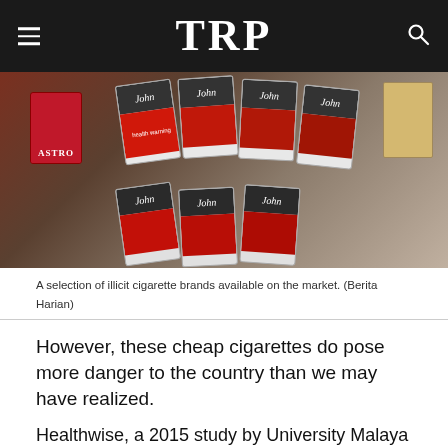TRP
[Figure (photo): A selection of illicit cigarette brands, showing multiple cigarette packs with graphic health warnings, arranged on a surface. Brands visible include 'John' and others. Photo credit: Berita Harian.]
A selection of illicit cigarette brands available on the market. (Berita Harian)
However, these cheap cigarettes do pose more danger to the country than we may have realized.
Healthwise, a 2015 study by University Malaya (UM) revealed that illicit cigarettes have been found to contain three times more tar and nicotine than that permissible by Malaysian law, besides having the